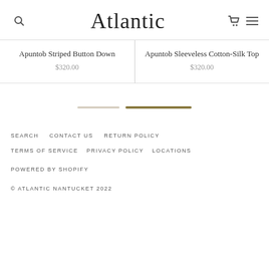Atlantic
Apuntob Striped Button Down
$320.00
Apuntob Sleeveless Cotton-Silk Top
$320.00
[Figure (other): Pagination progress bar with two segments: a light beige segment and a darker gold/olive segment]
SEARCH   CONTACT US   RETURN POLICY
TERMS OF SERVICE   PRIVACY POLICY   LOCATIONS
POWERED BY SHOPIFY
© ATLANTIC NANTUCKET 2022